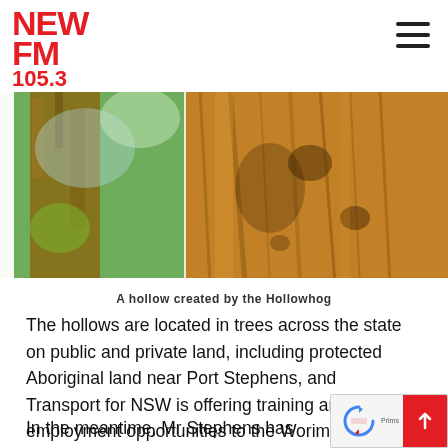NEW FM 105.3
[Figure (photo): Close-up photograph of a tree trunk with a hollow created by the Hollowhog tool, with green foliage visible in the background]
A hollow created by the Hollowhog
The hollows are located in trees across the state on public and private land, including protected Aboriginal land near Port Stephens, and Transport for NSW is offering training and employment opportunities to the Worimi indigenous community in the area.
In the meantime, Mr Stephens has big plans for the Hollowhog. He aims to continue working with